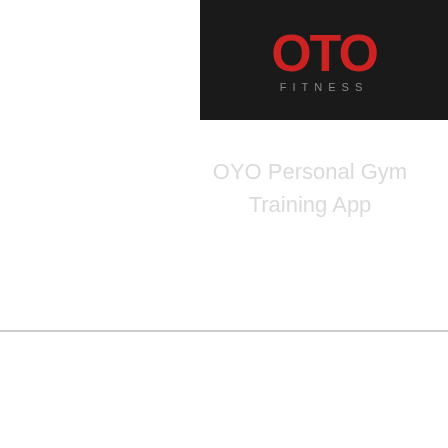[Figure (logo): OTO Fitness logo: red OTO text on dark background with FITNESS subtitle in grey letters]
OYO Personal Gym Training App
51p – 50sc
52p – (8sc, dec) * 5 times – 45sc